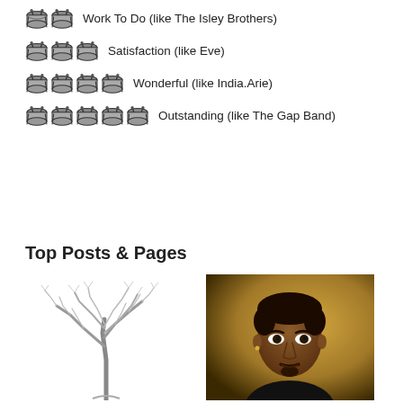🥁🥁 Work To Do (like The Isley Brothers)
🥁🥁🥁 Satisfaction (like Eve)
🥁🥁🥁🥁 Wonderful (like India.Arie)
🥁🥁🥁🥁🥁 Outstanding (like The Gap Band)
Top Posts & Pages
[Figure (photo): Black and white illustration of a large bare tree with detailed branches]
[Figure (photo): Portrait photo of a man with short curly hair, warm golden background]